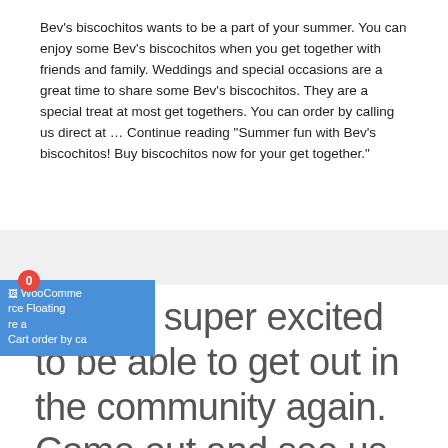Bev's biscochitos wants to be a part of your summer. You can enjoy some Bev's biscochitos when you get together with friends and family. Weddings and special occasions are a great time to share some Bev's biscochitos. They are a special treat at most get togethers. You can order by calling us direct at … Continue reading "Summer fun with Bev's biscochitos! Buy biscochitos now for your get together."
[Figure (screenshot): WooCommerce Floating Cart overlay with badge showing 0, displayed in blue over the text content]
We are super excited to be able to get out in the community again. Come out and see us at the Rail